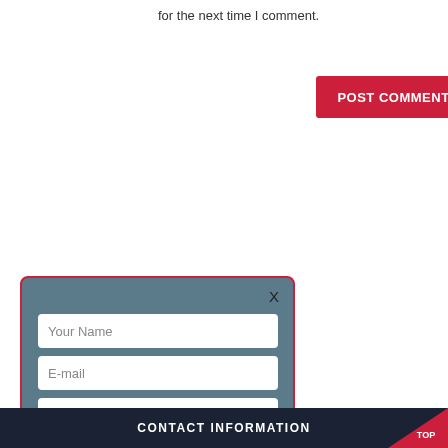for the next time I comment.
POST COMMENT
[Figure (screenshot): Modal dialog box with dark teal background and red border containing form fields: Your Name, E-mail, a product select dropdown with yellow text '----please select product----', a capacity field, and a red SUBMIT button. An X close button is in the top right.]
[Figure (screenshot): Search bar with a red search button containing a magnifying glass icon]
CONTACT INFORMATION   TOP